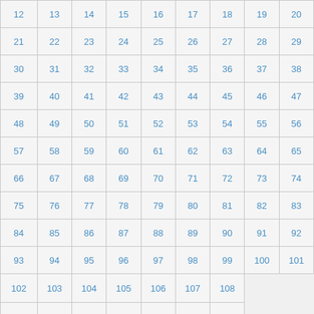| 12 | 13 | 14 | 15 | 16 | 17 | 18 | 19 | 20 |
| 21 | 22 | 23 | 24 | 25 | 26 | 27 | 28 | 29 |
| 30 | 31 | 32 | 33 | 34 | 35 | 36 | 37 | 38 |
| 39 | 40 | 41 | 42 | 43 | 44 | 45 | 46 | 47 |
| 48 | 49 | 50 | 51 | 52 | 53 | 54 | 55 | 56 |
| 57 | 58 | 59 | 60 | 61 | 62 | 63 | 64 | 65 |
| 66 | 67 | 68 | 69 | 70 | 71 | 72 | 73 | 74 |
| 75 | 76 | 77 | 78 | 79 | 80 | 81 | 82 | 83 |
| 84 | 85 | 86 | 87 | 88 | 89 | 90 | 91 | 92 |
| 93 | 94 | 95 | 96 | 97 | 98 | 99 | 100 | 101 |
| 102 | 103 | 104 | 105 | 106 | 107 | 108 |  |  |
| 109 | 110 | 111 | 112 | 113 | 114 | 115 |  |  |
| 116 | 117 | 118 | 119 | 120 | 121 | 122 |  |  |